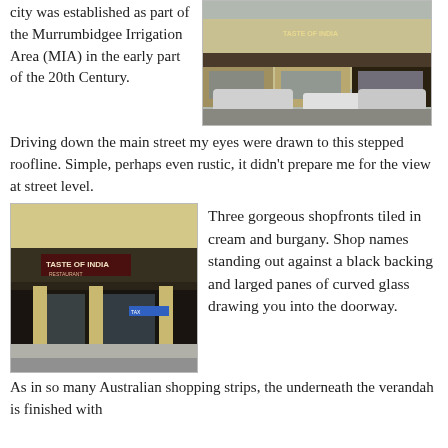city was established as part of the Murrumbidgee Irrigation Area (MIA) in the early part of the 20th Century.
[Figure (photo): Street-level view of shops along a main street with parked cars in front, including a 'Taste of India' restaurant sign visible]
Driving down the main street my eyes were drawn to this stepped roofline. Simple, perhaps even rustic, it didn't prepare me for the view at street level.
[Figure (photo): Close-up street-level view of Taste of India restaurant shopfront with cream and burgundy tiling, black signage backing, and curved glass windows]
Three gorgeous shopfronts tiled in cream and burgany. Shop names standing out against a black backing and larged panes of curved glass drawing you into the doorway.
As in so many Australian shopping strips, the underneath the verandah is finished with